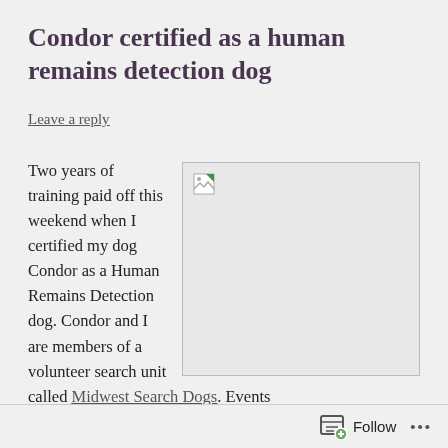Condor certified as a human remains detection dog
Leave a reply
Two years of training paid off this weekend when I certified my dog Condor as a Human Remains Detection dog. Condor and I are members of a volunteer search unit called Midwest Search Dogs. Events
[Figure (photo): Broken/missing image placeholder with small torn-image icon in top-left corner]
Follow ...